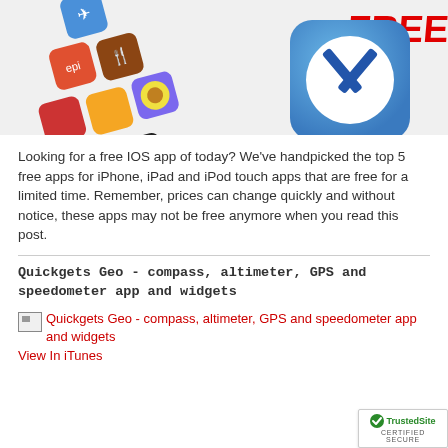[Figure (photo): Promotional image showing iOS app icons arranged diagonally with a large App Store icon and red FREE! text in the top right corner]
Looking for a free IOS app of today? We've handpicked the top 5 free apps for iPhone, iPad and iPod touch apps that are free for a limited time. Remember, prices can change quickly and without notice, these apps may not be free anymore when you read this post.
Quickgets Geo - compass, altimeter, GPS and speedometer app and widgets
[Figure (photo): Broken image placeholder for Quickgets Geo - compass, altimeter, GPS and speedometer app and widgets]
View In iTunes